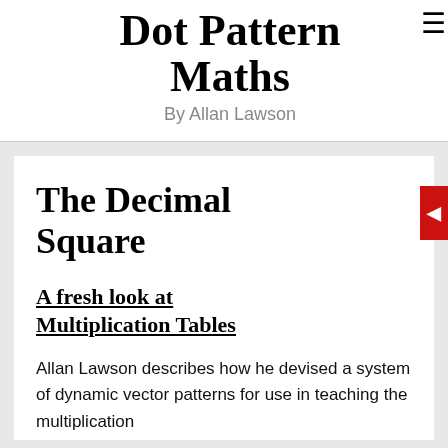Dot Pattern Maths
By Allan Lawson
The Decimal Square
A fresh look at Multiplication Tables
Allan Lawson describes how he devised a system of dynamic vector patterns for use in teaching the multiplication...